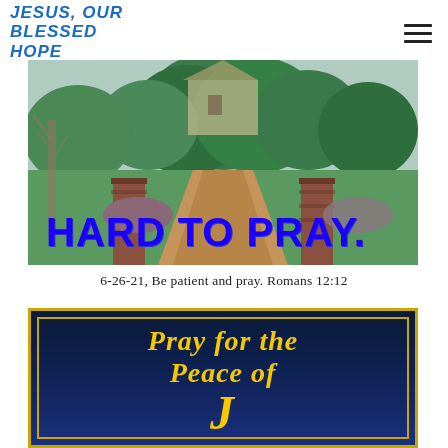JESUS, OUR BLESSED HOPE
[Figure (photo): Painting of a garden path leading to a house, with brick pillars on either side, lush green trees and lawn. Overlaid bold blue text reads 'HARD TO PRAY.']
6-26-21, Be patient and pray. Romans 12:12
[Figure (photo): Dark navy blue decorative image with gold border, featuring old English/Gothic style yellow text reading 'Pray for the Peace of' with additional text cut off at bottom.]